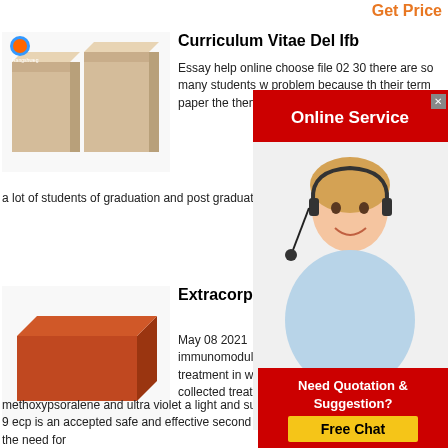Get Price
Curriculum Vitae Del Ifb
Essay help online choose file 02 30 there are so many students w problem because t their term paper the themselves i have s a lot of students of graduation and post graduation suff these issues
[Figure (photo): Two light beige/tan firebricks side by side on white background]
[Figure (infographic): Online Service popup with red header bar, close button, and smiling female customer service agent with headset]
Extracorporea Vs Standard T
May 08 2021  extra ecp is an immunomodulatory leukapheresis based treatment in which the patient s leukocytes are collected treated with 8 methoxypsoralene and ultra violet a light and subsequently reinfused to the patient 9 ecp is an accepted safe and effective second line treatment for cgvhd reducing the need for
[Figure (photo): Single red/terracotta brick on white background]
[Figure (infographic): Need Quotation & Suggestion popup with red background and yellow Free Chat button]